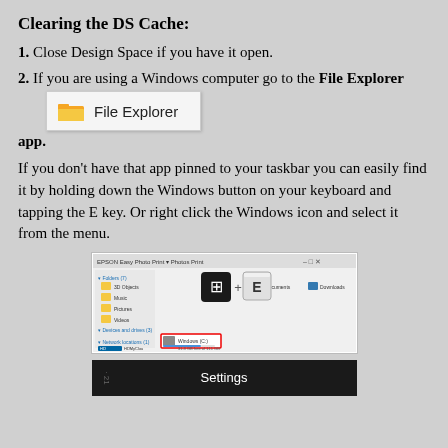Clearing the DS Cache:
1. Close Design Space if you have it open.
2. If you are using a Windows computer go to the File Explorer app.
[Figure (screenshot): File Explorer app icon showing folder with label 'File Explorer' in a white popup box]
If you don't have that app pinned to your taskbar you can easily find it by holding down the Windows button on your keyboard and tapping the E key. Or right click the Windows icon and select it from the menu.
[Figure (screenshot): Screenshot of Windows File Explorer window showing Windows key + E keyboard shortcut and file system folders including Windows C: drive highlighted with red box]
[Figure (screenshot): Dark Windows Settings context menu panel with 'Settings' option visible]